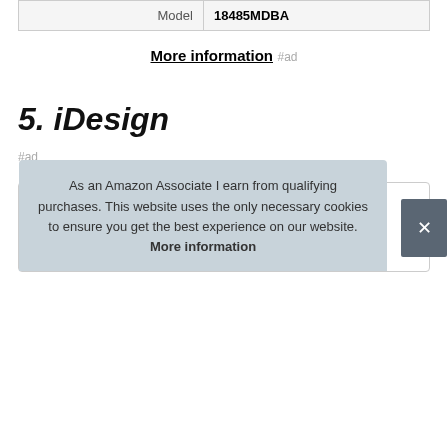| Model | 18485MDBA |
More information #ad
5. iDesign
#ad
As an Amazon Associate I earn from qualifying purchases. This website uses the only necessary cookies to ensure you get the best experience on our website. More information